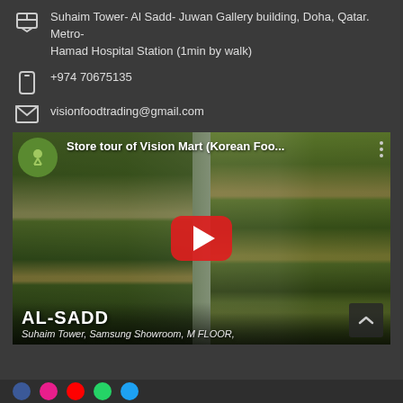Suhaim Tower- Al Sadd- Juwan Gallery building, Doha, Qatar. Metro- Hamad Hospital Station (1min by walk)
+974 70675135
visionfoodtrading@gmail.com
[Figure (screenshot): YouTube video thumbnail showing store tour of Vision Mart (Korean Foo...) with shelves stocked with Korean products. Bottom overlay shows AL-SADD text and Suhaim Tower, Samsung Showroom, M FLOOR subtitle. Large red YouTube play button in center.]